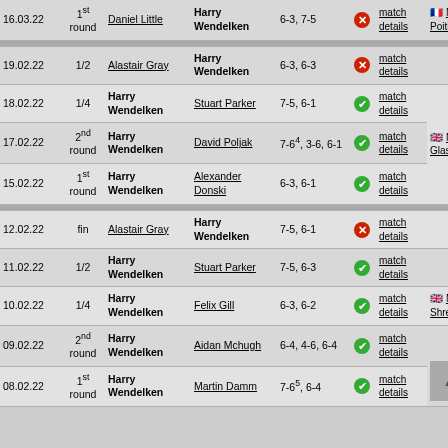| Date | Round | Player 1 | Player 2 | Score |  | Link | Tournament |
| --- | --- | --- | --- | --- | --- | --- | --- |
| 16.03.22 | 1st round | Daniel Little | Harry Wendelken | 6-3, 7-5 | X | match details | 🇫🇷 M15 Poitiers |
| 19.02.22 | 1/2 | Alastair Gray | Harry Wendelken | 6-3, 6-3 | X | match details |  |
| 18.02.22 | 1/4 | Harry Wendelken | Stuart Parker | 7-5, 6-1 | ✓ | match details | 🇬🇧 M25 Glasgow |
| 17.02.22 | 2nd round | Harry Wendelken | David Poljak | 7-6^4, 3-6, 6-1 | ✓ | match details |  |
| 15.02.22 | 1st round | Harry Wendelken | Alexander Donski | 6-3, 6-1 | ✓ | match details |  |
| 12.02.22 | fin | Alastair Gray | Harry Wendelken | 7-5, 6-1 | X | match details |  |
| 11.02.22 | 1/2 | Harry Wendelken | Stuart Parker | 7-5, 6-3 | ✓ | match details |  |
| 10.02.22 | 1/4 | Harry Wendelken | Felix Gill | 6-3, 6-2 | ✓ | match details | 🇬🇧 M25 Shrewsbury |
| 09.02.22 | 2nd round | Harry Wendelken | Aidan Mchugh | 6-4, 4-6, 6-4 | ✓ | match details |  |
| 08.02.22 | 1st round | Harry Wendelken | Martin Damm | 7-6^5, 6-4 | ✓ | match details |  |